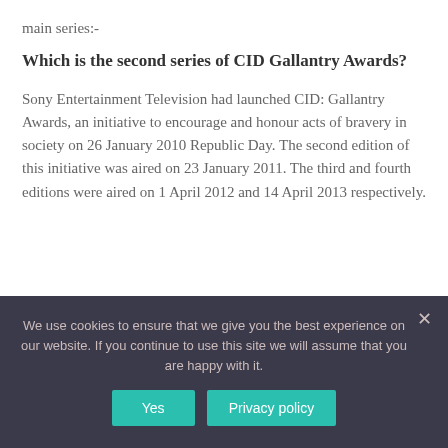main series:-
Which is the second series of CID Gallantry Awards?
Sony Entertainment Television had launched CID: Gallantry Awards, an initiative to encourage and honour acts of bravery in society on 26 January 2010 Republic Day. The second edition of this initiative was aired on 23 January 2011. The third and fourth editions were aired on 1 April 2012 and 14 April 2013 respectively.
We use cookies to ensure that we give you the best experience on our website. If you continue to use this site we will assume that you are happy with it.